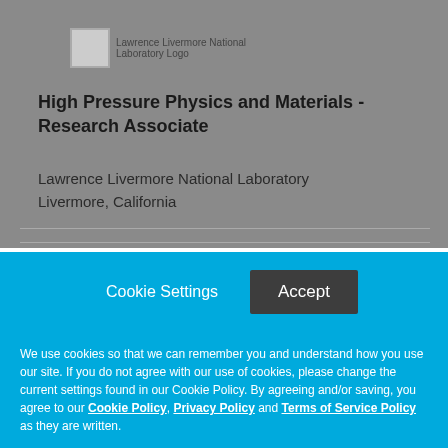[Figure (logo): Lawrence Livermore National Laboratory Logo placeholder image with alt text]
High Pressure Physics and Materials - Research Associate
Lawrence Livermore National Laboratory
Livermore, California
Cookie Settings   Accept
We use cookies so that we can remember you and understand how you use our site. If you do not agree with our use of cookies, please change the current settings found in our Cookie Policy. By agreeing and/or saving, you agree to our Cookie Policy, Privacy Policy and Terms of Service Policy as they are written.